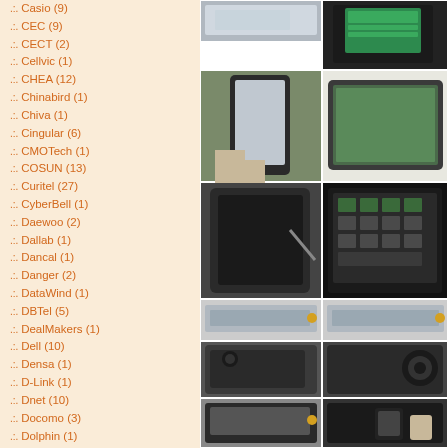Casio (9)
CEC (9)
CECT (2)
Cellvic (1)
CHEA (12)
Chinabird (1)
Chiva (1)
Cingular (6)
CMOTech (1)
COSUN (13)
Curitel (27)
CyberBell (1)
Daewoo (2)
Dallab (1)
Dancal (1)
Danger (2)
DataWind (1)
DBTel (5)
DealMakers (1)
Dell (10)
Densa (1)
D-Link (1)
Dnet (10)
Docomo (3)
Dolphin (1)
Dopod (5)
Doro (2)
Drin.it (7)
[Figure (photo): Grid of mobile phone photos showing various angles of smartphones and devices]